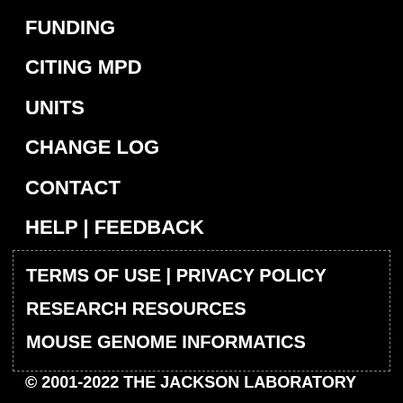FUNDING
CITING MPD
UNITS
CHANGE LOG
CONTACT
HELP  |  FEEDBACK
TERMS OF USE  |  PRIVACY POLICY
RESEARCH RESOURCES
MOUSE GENOME INFORMATICS
© 2001-2022 THE JACKSON LABORATORY